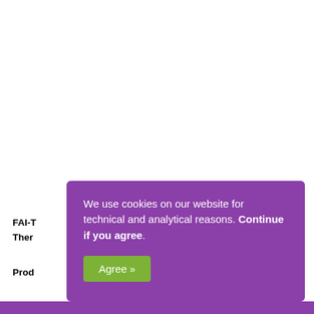FAI-T
Ther
Prod
We use cookies on our website for technical and analytical reasons. Continue if you agree.
Agree »